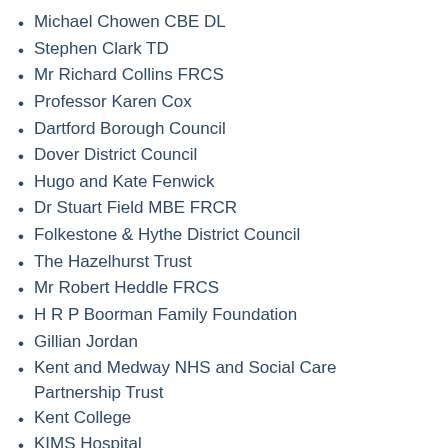Michael Chowen CBE DL
Stephen Clark TD
Mr Richard Collins FRCS
Professor Karen Cox
Dartford Borough Council
Dover District Council
Hugo and Kate Fenwick
Dr Stuart Field MBE FRCR
Folkestone & Hythe District Council
The Hazelhurst Trust
Mr Robert Heddle FRCS
H R P Boorman Family Foundation
Gillian Jordan
Kent and Medway NHS and Social Care Partnership Trust
Kent College
KIMS Hospital